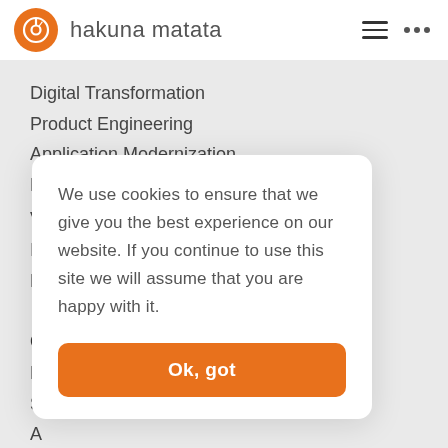[Figure (logo): Hakuna Matata logo: orange circle with white swirl/music note icon, followed by brand name 'hakuna matata' in gray sans-serif text]
Digital Transformation
Product Engineering
Application Modernization
N... (partially visible, obscured by modal)
We use cookies to ensure that we give you the best experience on our website. If you continue to use this site we will assume that you are happy with it.
Ok, got